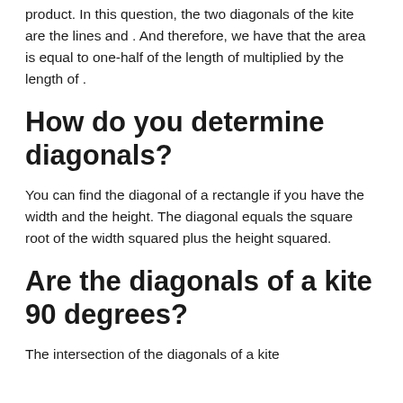product. In this question, the two diagonals of the kite are the lines and . And therefore, we have that the area is equal to one-half of the length of multiplied by the length of .
How do you determine diagonals?
You can find the diagonal of a rectangle if you have the width and the height. The diagonal equals the square root of the width squared plus the height squared.
Are the diagonals of a kite 90 degrees?
The intersection of the diagonals of a kite form 90 degree (right) angles. This...